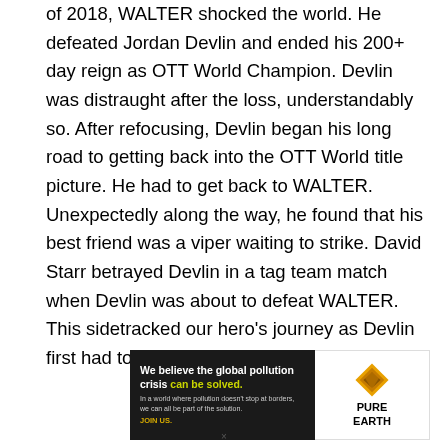of 2018, WALTER shocked the world. He defeated Jordan Devlin and ended his 200+ day reign as OTT World Champion. Devlin was distraught after the loss, understandably so. After refocusing, Devlin began his long road to getting back into the OTT World title picture. He had to get back to WALTER. Unexpectedly along the way, he found that his best friend was a viper waiting to strike. David Starr betrayed Devlin in a tag team match when Devlin was about to defeat WALTER. This sidetracked our hero's journey as Devlin first had to confront and defeat Starr.
[Figure (other): Pure Earth advertisement banner. Left side dark background with text 'We believe the global pollution crisis can be solved.' Right side white background with Pure Earth diamond logo and brand name.]
×